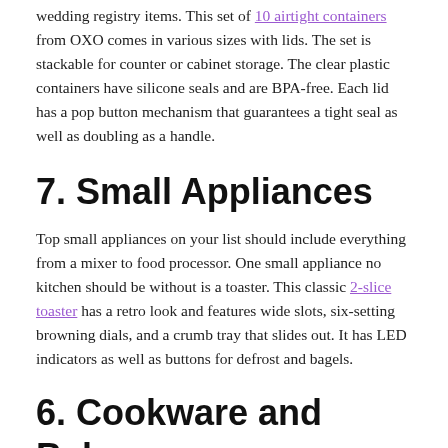wedding registry items. This set of 10 airtight containers from OXO comes in various sizes with lids. The set is stackable for counter or cabinet storage. The clear plastic containers have silicone seals and are BPA-free. Each lid has a pop button mechanism that guarantees a tight seal as well as doubling as a handle.
7. Small Appliances
Top small appliances on your list should include everything from a mixer to food processor. One small appliance no kitchen should be without is a toaster. This classic 2-slice toaster has a retro look and features wide slots, six-setting browning dials, and a crumb tray that slides out. It has LED indicators as well as buttons for defrost and bagels.
6. Cookware and Bakeware